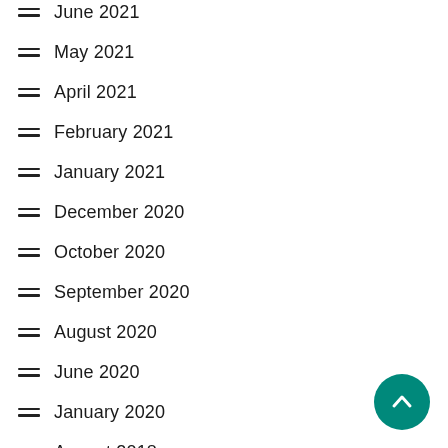June 2021
May 2021
April 2021
February 2021
January 2021
December 2020
October 2020
September 2020
August 2020
June 2020
January 2020
August 2018
March 2018